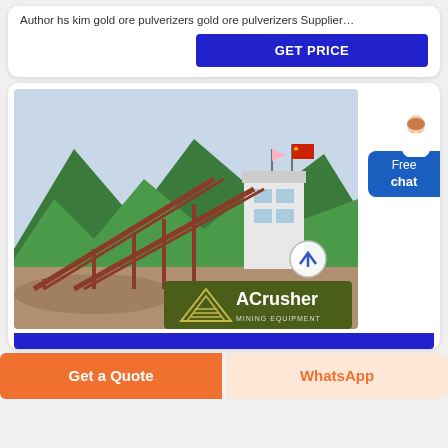Author hs kim gold ore pulverizers gold ore pulverizers Supplier…
GET PRICE
[Figure (photo): Photo of a mining/crushing facility with conveyors and industrial equipment in front of a mountain backdrop, with Chinese flags on a white building. ACrusher Mining Equipment logo overlay at bottom.]
Free chat
Get a Quote
WhatsApp